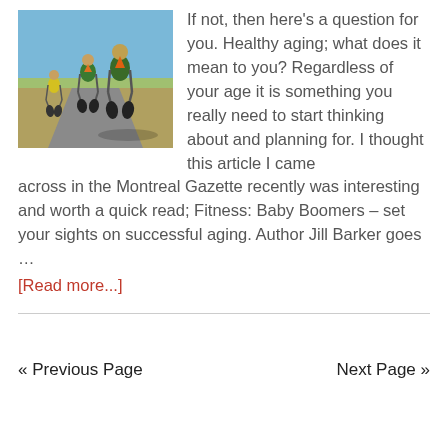[Figure (photo): Three cyclists riding away on a road with flat landscape, wearing green jerseys with orange triangle logos]
If not, then here's a question for you. Healthy aging; what does it mean to you? Regardless of your age it is something you really need to start thinking about and planning for. I thought this article I came across in the Montreal Gazette recently was interesting and worth a quick read; Fitness: Baby Boomers – set your sights on successful aging. Author Jill Barker goes …
[Read more...]
« Previous Page    Next Page »